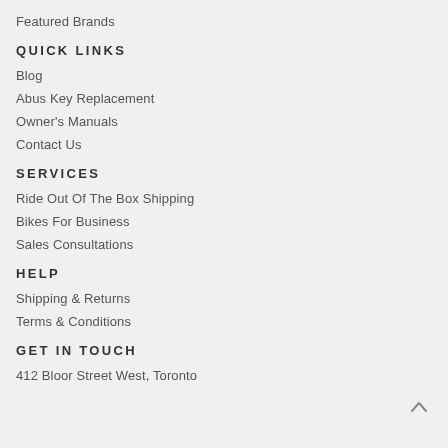Featured Brands
QUICK LINKS
Blog
Abus Key Replacement
Owner's Manuals
Contact Us
SERVICES
Ride Out Of The Box Shipping
Bikes For Business
Sales Consultations
HELP
Shipping & Returns
Terms & Conditions
GET IN TOUCH
412 Bloor Street West, Toronto